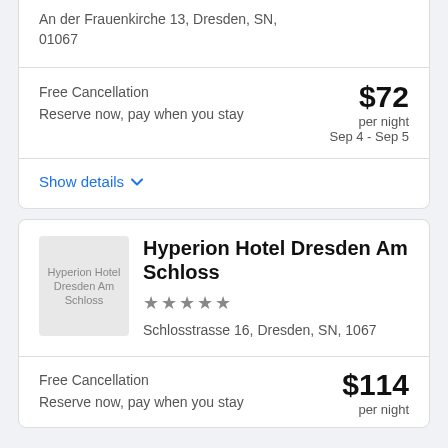An der Frauenkirche 13, Dresden, SN, 01067
Free Cancellation
Reserve now, pay when you stay
$72 per night
Sep 4 - Sep 5
Show details
Hyperion Hotel Dresden Am Schloss
Schlosstrasse 16, Dresden, SN, 1067
Free Cancellation
Reserve now, pay when you stay
$114 per night